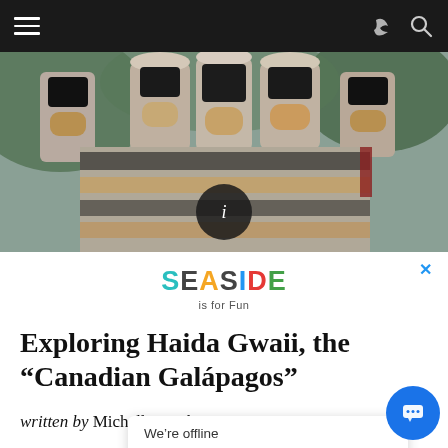Navigation bar with hamburger menu, share icon, and search icon
[Figure (photo): Close-up photo of carved wooden totem pole figures with black, orange/tan, and white painted details against a blurred green background]
[Figure (logo): SEASIDE is for Fun advertisement logo with colorful letters]
Exploring Haida Gwaii, the “Canadian Galápagos”
written by Michelle Hopkins
We're offline
Leave a message